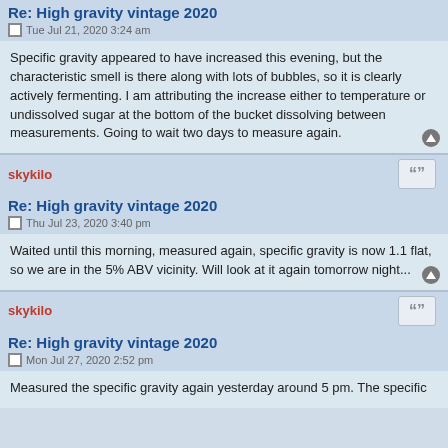Re: High gravity vintage 2020
Tue Jul 21, 2020 3:24 am
Specific gravity appeared to have increased this evening, but the characteristic smell is there along with lots of bubbles, so it is clearly actively fermenting. I am attributing the increase either to temperature or undissolved sugar at the bottom of the bucket dissolving between measurements. Going to wait two days to measure again.
skykilo
Re: High gravity vintage 2020
Thu Jul 23, 2020 3:40 pm
Waited until this morning, measured again, specific gravity is now 1.1 flat, so we are in the 5% ABV vicinity. Will look at it again tomorrow night...
skykilo
Re: High gravity vintage 2020
Mon Jul 27, 2020 2:52 pm
Measured the specific gravity again yesterday around 5 pm. The specific